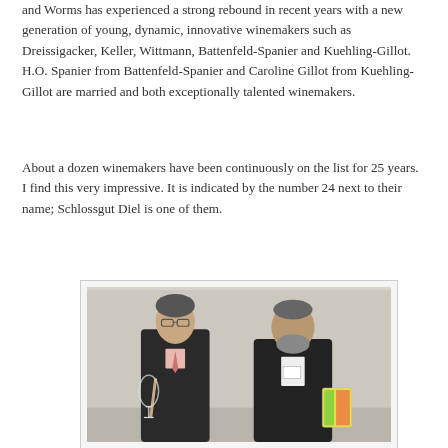and Worms has experienced a strong rebound in recent years with a new generation of young, dynamic, innovative winemakers such as Dreissigacker, Keller, Wittmann, Battenfeld-Spanier and Kuehling-Gillot. H.O. Spanier from Battenfeld-Spanier and Caroline Gillot from Kuehling-Gillot are married and both exceptionally talented winemakers.
About a dozen winemakers have been continuously on the list for 25 years. I find this very impressive. It is indicated by the number 24 next to their name; Schlossgut Diel is one of them.
[Figure (photo): Two men in dark suits conversing at an event. The man on the left wears glasses and holds a wine glass. The man on the right has a beard and wears a name badge. A colorful booklet is partially visible on the right edge.]